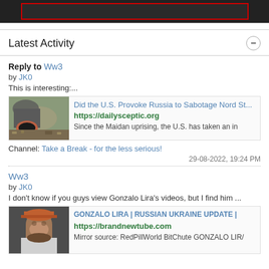[Figure (screenshot): Dark banner with red-bordered rectangle]
Latest Activity
Reply to Ww3
by JK0
This is interesting:...
[Figure (screenshot): Link card: Did the U.S. Provoke Russia to Sabotage Nord St... https://dailysceptic.org Since the Maidan uprising, the U.S. has taken an in]
Channel: Take a Break - for the less serious!
29-08-2022, 19:24 PM
Ww3
by JK0
I don't know if you guys view Gonzalo Lira's videos, but I find him ...
[Figure (screenshot): Link card: GONZALO LIRA | RUSSIAN UKRAINE UPDATE | https://brandnewtube.com Mirror source: RedPillWorld BitChute GONZALO LIR/]